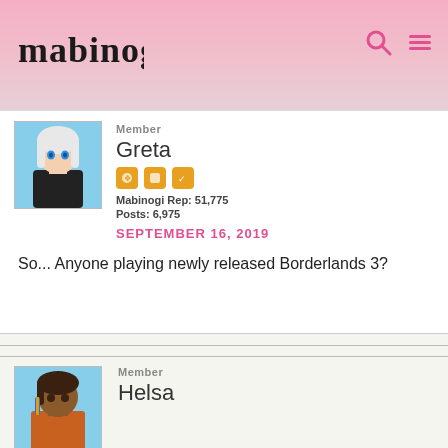[Figure (screenshot): Mabinogi forum website header with pink gradient background, Mabinogi logo text on left, search and menu icons on right]
Member
Greta
[Figure (illustration): Anime-style avatar of a girl with white/silver hair and blue eyes wearing a black outfit]
Mabinogi Rep: 51,775
Posts: 6,975
SEPTEMBER 16, 2019
So... Anyone playing newly released Borderlands 3?
Member
Helsa
[Figure (illustration): Anime-style avatar of a dark-skinned girl with brown hair and colorful outfit]